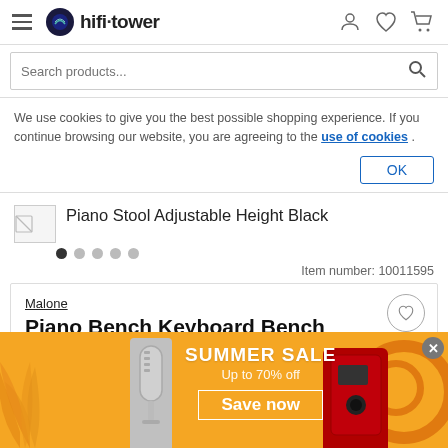hifi·tower - navigation with hamburger menu, user icon, heart icon, cart icon
Search products...
We use cookies to give you the best possible shopping experience. If you continue browsing our website, you are agreeing to the use of cookies .
Piano Stool Adjustable Height Black
Item number: 10011595
Malone
Piano Bench Keyboard Bench
[Figure (screenshot): Summer sale promotional banner with orange background, palm leaves, microphone product, Save now button, Up to 70% off text]